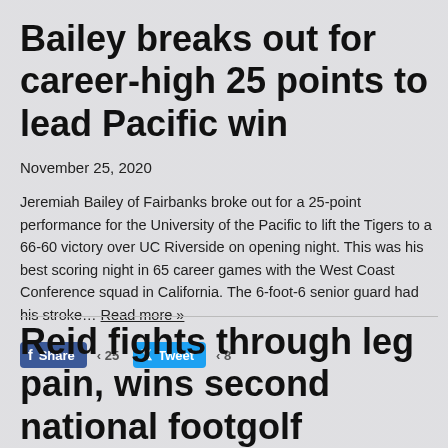Bailey breaks out for career-high 25 points to lead Pacific win
November 25, 2020
Jeremiah Bailey of Fairbanks broke out for a 25-point performance for the University of the Pacific to lift the Tigers to a 66-60 victory over UC Riverside on opening night. This was his best scoring night in 65 career games with the West Coast Conference squad in California. The 6-foot-6 senior guard had his stroke… Read more »
Reid fights through leg pain, wins second national footgolf